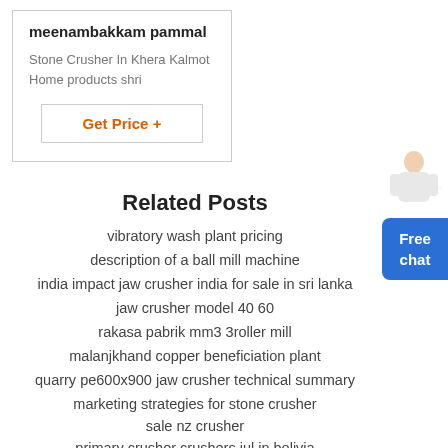meenambakkam pammal
Stone Crusher In Khera Kalmot Home products shri
Get Price +
Related Posts
vibratory wash plant pricing
description of a ball mill machine
india impact jaw crusher india for sale in sri lanka
jaw crusher model 40 60
rakasa pabrik mm3 3roller mill
malanjkhand copper beneficiation plant
quarry pe600x900 jaw crusher technical summary
marketing strategies for stone crusher
sale nz crusher
primary crusher crushers jul in bolivia
china gold gravity mineral processing shake table
uganda 300,000 t.y ready mixed mortar production line for sale